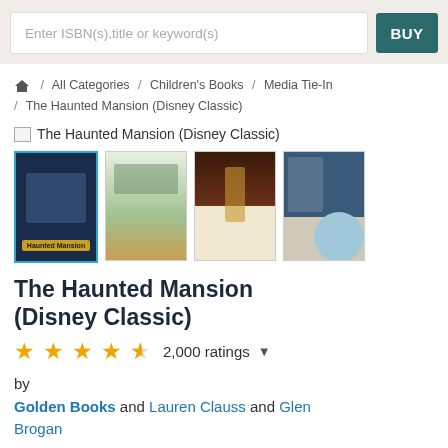Enter ISBN(s),title or keyword(s)
BUY
/ All Categories / Children's Books / Media Tie-In / The Haunted Mansion (Disney Classic)
[Figure (screenshot): Broken image placeholder for The Haunted Mansion (Disney Classic) book cover]
The Haunted Mansion (Disney Classic)
[Figure (photo): Four thumbnail images of The Haunted Mansion Disney Classic book pages and cover]
The Haunted Mansion (Disney Classic)
★★★★½  2,000 ratings
by Golden Books and Lauren Clauss and Glen Brogan